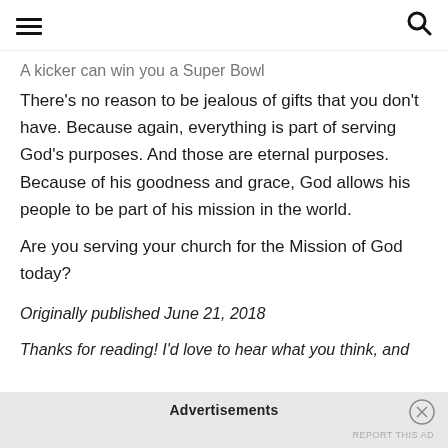[hamburger menu icon] [search icon]
A kicker can win you a Super Bowl
There's no reason to be jealous of gifts that you don't have. Because again, everything is part of serving God's purposes. And those are eternal purposes. Because of his goodness and grace, God allows his people to be part of his mission in the world.
Are you serving your church for the Mission of God today?
Originally published June 21, 2018
Thanks for reading! I'd love to hear what you think, and
Advertisements